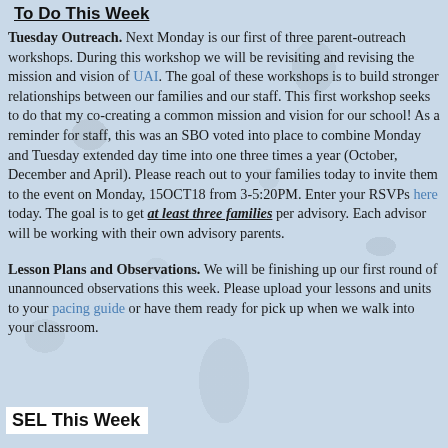To Do This Week
Tuesday Outreach. Next Monday is our first of three parent-outreach workshops. During this workshop we will be revisiting and revising the mission and vision of UAI. The goal of these workshops is to build stronger relationships between our families and our staff. This first workshop seeks to do that my co-creating a common mission and vision for our school! As a reminder for staff, this was an SBO voted into place to combine Monday and Tuesday extended day time into one three times a year (October, December and April). Please reach out to your families today to invite them to the event on Monday, 15OCT18 from 3-5:20PM. Enter your RSVPs here today. The goal is to get at least three families per advisory. Each advisor will be working with their own advisory parents.
Lesson Plans and Observations. We will be finishing up our first round of unannounced observations this week. Please upload your lessons and units to your pacing guide or have them ready for pick up when we walk into your classroom.
SEL This Week